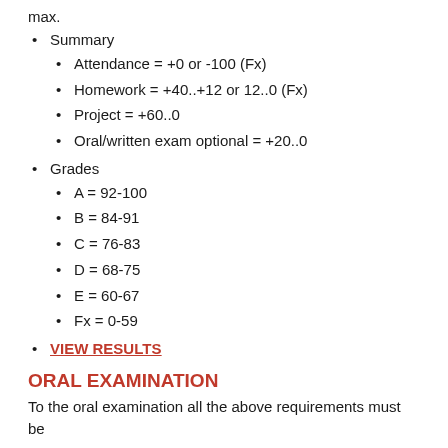max.
Summary
Attendance = +0 or -100 (Fx)
Homework = +40..+12 or 12..0 (Fx)
Project = +60..0
Oral/written exam optional = +20..0
Grades
A = 92-100
B = 84-91
C = 76-83
D = 68-75
E = 60-67
Fx = 0-59
VIEW RESULTS
ORAL EXAMINATION
To the oral examination all the above requirements must be